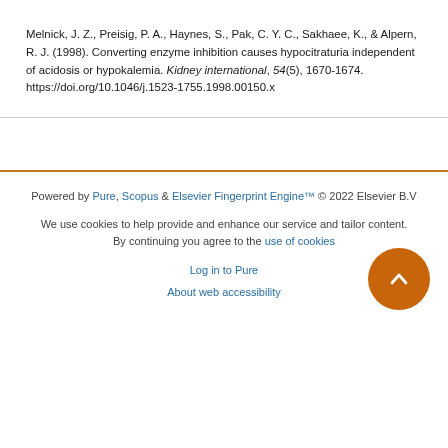Melnick, J. Z., Preisig, P. A., Haynes, S., Pak, C. Y. C., Sakhaee, K., & Alpern, R. J. (1998). Converting enzyme inhibition causes hypocitraturia independent of acidosis or hypokalemia. Kidney international, 54(5), 1670-1674. https://doi.org/10.1046/j.1523-1755.1998.00150.x
Powered by Pure, Scopus & Elsevier Fingerprint Engine™ © 2022 Elsevier B.V
We use cookies to help provide and enhance our service and tailor content. By continuing you agree to the use of cookies
Log in to Pure
About web accessibility